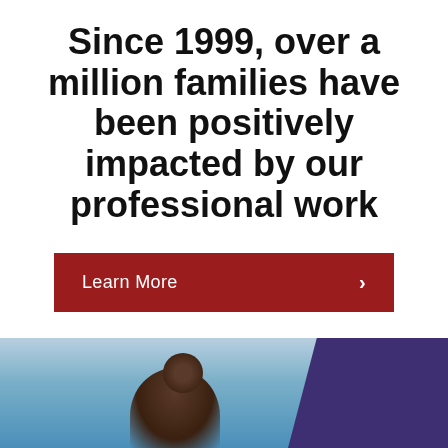Since 1999, over a million families have been positively impacted by our professional work
Learn More ›
Get Involved
Donate
Volunteer
Advocate
[Figure (photo): Photo strip at bottom showing a person in front of a colorful background, with a dark purple panel on the right side]